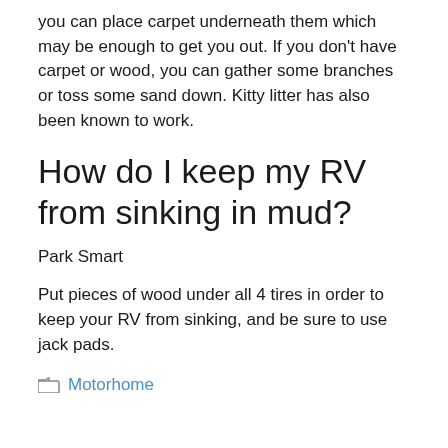you can place carpet underneath them which may be enough to get you out. If you don't have carpet or wood, you can gather some branches or toss some sand down. Kitty litter has also been known to work.
How do I keep my RV from sinking in mud?
Park Smart
Put pieces of wood under all 4 tires in order to keep your RV from sinking, and be sure to use jack pads.
Motorhome